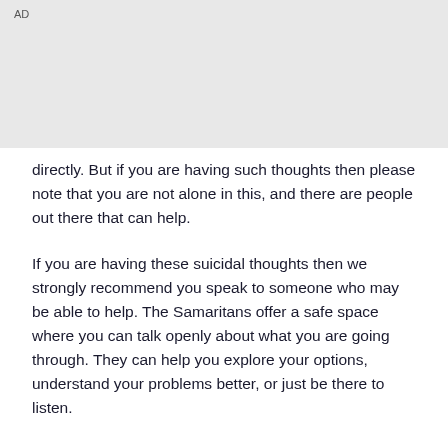AD
directly. But if you are having such thoughts then please note that you are not alone in this, and there are people out there that can help.
If you are having these suicidal thoughts then we strongly recommend you speak to someone who may be able to help. The Samaritans offer a safe space where you can talk openly about what you are going through. They can help you explore your options, understand your problems better, or just be there to listen.
Their contact details are on our patient information leaflet here: https://patient.info/health/dealing-with-suicidal-thoughts, which also offers lots of other